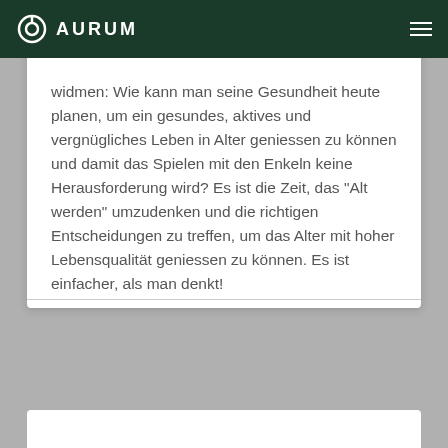AURUM
widmen: Wie kann man seine Gesundheit heute planen, um ein gesundes, aktives und vergnügliches Leben in Alter geniessen zu können und damit das Spielen mit den Enkeln keine Herausforderung wird? Es ist die Zeit, das "Alt werden" umzudenken und die richtigen Entscheidungen zu treffen, um das Alter mit hoher Lebensqualität geniessen zu können. Es ist einfacher, als man denkt!
JULIAN MASSLER
WOHLBEFINDEN